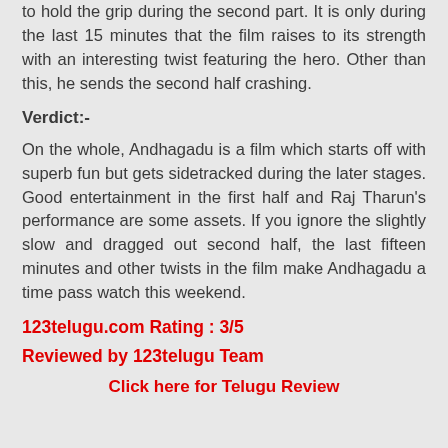to hold the grip during the second part. It is only during the last 15 minutes that the film raises to its strength with an interesting twist featuring the hero. Other than this, he sends the second half crashing.
Verdict:-
On the whole, Andhagadu is a film which starts off with superb fun but gets sidetracked during the later stages. Good entertainment in the first half and Raj Tharun's performance are some assets. If you ignore the slightly slow and dragged out second half, the last fifteen minutes and other twists in the film make Andhagadu a time pass watch this weekend.
123telugu.com Rating : 3/5
Reviewed by 123telugu Team
Click here for Telugu Review